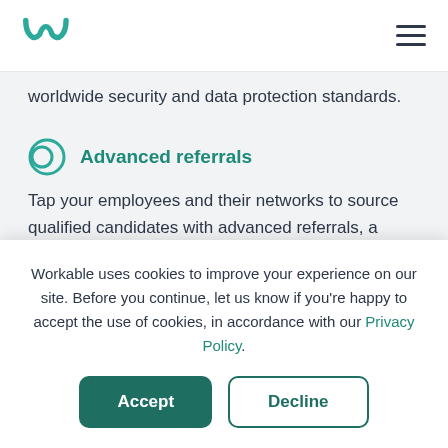Workable logo and navigation menu
worldwide security and data protection standards.
Advanced referrals
Tap your employees and their networks to source qualified candidates with advanced referrals, a
Workable uses cookies to improve your experience on our site. Before you continue, let us know if you're happy to accept the use of cookies, in accordance with our Privacy Policy.
Accept
Decline